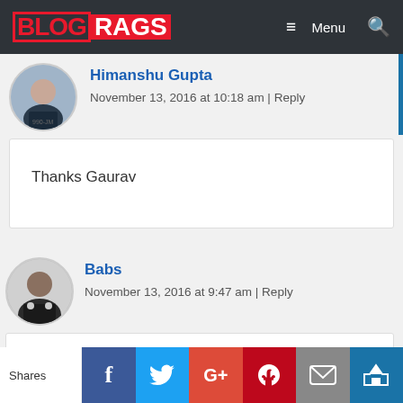BLOG RAGS — Menu
Himanshu Gupta
November 13, 2016 at 10:18 am | Reply
Thanks Gaurav
Babs
November 13, 2016 at 9:47 am | Reply
Shares — Facebook, Twitter, Google+, Pinterest, Email, Crown